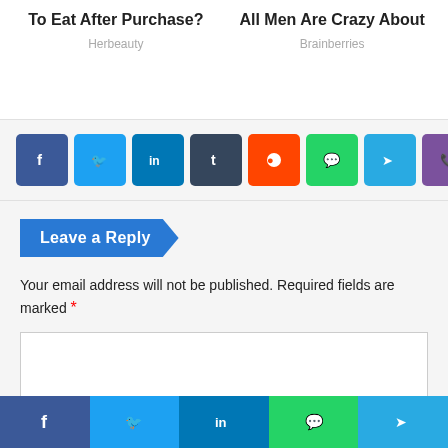To Eat After Purchase?
Herbeauty
All Men Are Crazy About
Brainberries
[Figure (other): Social share buttons: Facebook, Twitter, LinkedIn, Tumblr, Reddit, WhatsApp, Telegram, Viber]
Leave a Reply
Your email address will not be published. Required fields are marked *
[Figure (other): Comment text area input field]
[Figure (other): Bottom sticky share bar: Facebook, Twitter, LinkedIn, WhatsApp, Telegram]